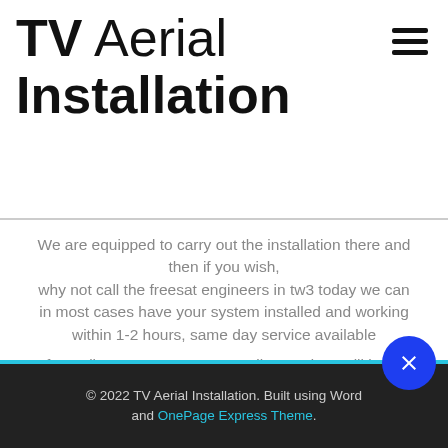TV Aerial Installation
We are equipped to carry out the installation there and then if you wish, why not call the freesat engineers in tw3 today we can in most cases have your system installed and working within 1-2 hours, same day service available

freecall 0800 018 9960 or email us and we will be in contact
© 2022 TV Aerial Installation. Built using WordPress and OnePage Express Theme.